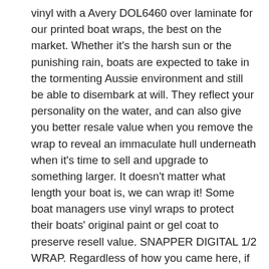vinyl with a Avery DOL6460 over laminate for our printed boat wraps, the best on the market. Whether it's the harsh sun or the punishing rain, boats are expected to take in the tormenting Aussie environment and still be able to disembark at will. They reflect your personality on the water, and can also give you better resale value when you remove the wrap to reveal an immaculate hull underneath when it's time to sell and upgrade to something larger. It doesn't matter what length your boat is, we can wrap it! Some boat managers use vinyl wraps to protect their boats' original paint or gel coat to preserve resell value. SNAPPER DIGITAL 1/2 WRAP. Regardless of how you came here, if you are interested in boat wraps or yacht wraps, even if you just want to discuss the cost of a boat wrap vs paint, our aim is to identify exactly what you need, provide you with the highest level of service, and get the job done. If you inspect a join or a patch closely, you can see where the ...